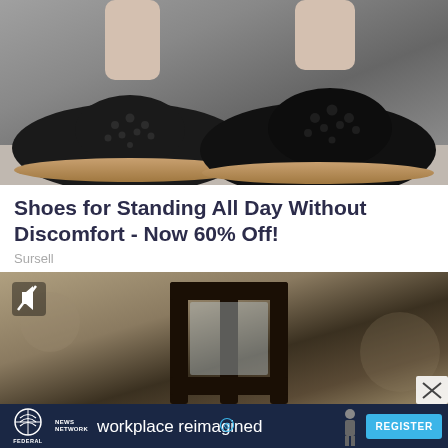[Figure (photo): Close-up photo of a person's feet/legs wearing black laser-cut flat shoes with floral cutout pattern and tan/caramel rubber sole, against a grey background.]
Shoes for Standing All Day Without Discomfort - Now 60% Off!
Sursell
[Figure (screenshot): Video thumbnail showing an interior scene with dark wooden furniture/bars and a blurred background. Mute icon visible in top-left. Close button (X) in lower-right corner.]
[Figure (other): Banner advertisement for Federal News Network featuring text 'workplace reimagined' and a blue REGISTER button.]